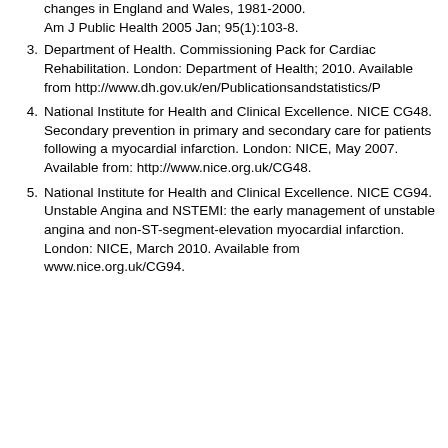2. (continued) changes in England and Wales, 1981-2000. Am J Public Health 2005 Jan; 95(1):103-8.
3. Department of Health. Commissioning Pack for Cardiac Rehabilitation. London: Department of Health; 2010. Available from http://www.dh.gov.uk/en/Publicationsandstatistics/P
4. National Institute for Health and Clinical Excellence. NICE CG48. Secondary prevention in primary and secondary care for patients following a myocardial infarction. London: NICE, May 2007. Available from: http://www.nice.org.uk/CG48.
5. National Institute for Health and Clinical Excellence. NICE CG94. Unstable Angina and NSTEMI: the early management of unstable angina and non-ST-segment-elevation myocardial infarction. London: NICE, March 2010. Available from www.nice.org.uk/CG94.